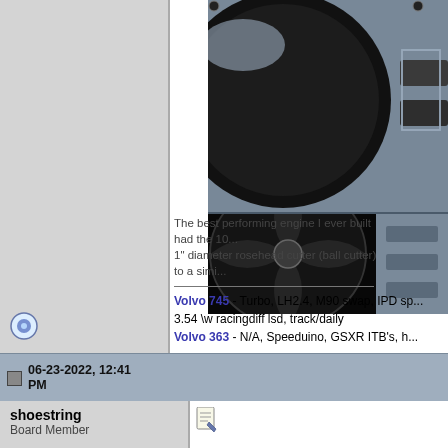[Figure (photo): Close-up photo of an engine component (cylinder head/block), metallic, black background]
The best performing engine I ever built had the 10... 1" diameter rosehead cutter (ball cutter) to a simi...
Volvo 745 - Turbo, LH2.4, M90 swap, IPD sp... 3.54 \w racingdiff lsd, track/daily
Volvo 363 - N/A, Speeduino, GSXR ITB's, h...
I sell LH2.4 Chips for Europe!
06-23-2022, 12:41 PM
shoestring
Board Member